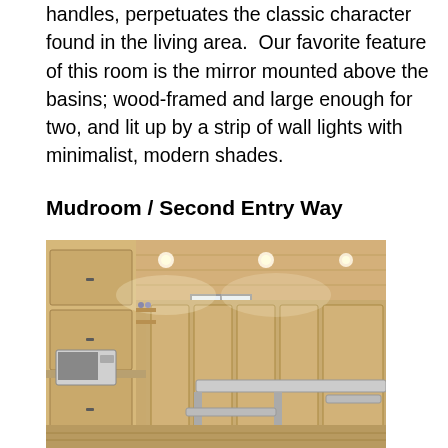handles, perpetuates the classic character found in the living area.  Our favorite feature of this room is the mirror mounted above the basins; wood-framed and large enough for two, and lit up by a strip of wall lights with minimalist, modern shades.
Mudroom / Second Entry Way
[Figure (photo): Interior photo of a mudroom with natural wood paneled walls and ceiling, light wood cabinets on the left, a microwave, a picnic-style table and bench seating in the center, locker-style storage panels along the back wall, and recessed ceiling lights.]